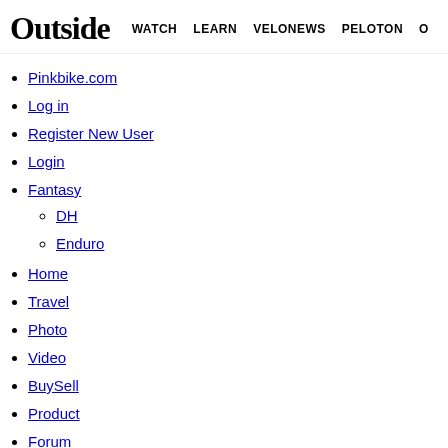Outside | WATCH | LEARN | VELONEWS | PELOTON
Pinkbike.com
Log in
Register New User
Login
Fantasy
DH
Enduro
Home
Travel
Photo
Video
BuySell
Product
Forum
Places
TRAILFORKS
Overview
Bike Shops
Bike Clubs
Bike Guides